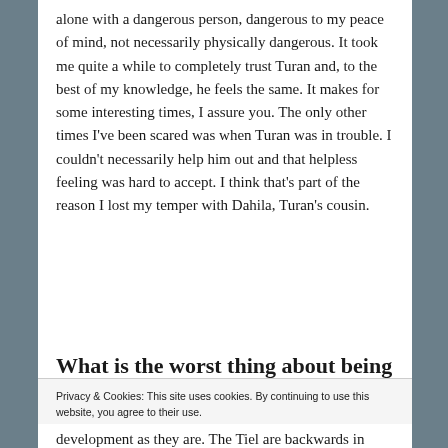alone with a dangerous person, dangerous to my peace of mind, not necessarily physically dangerous. It took me quite a while to completely trust Turan and, to the best of my knowledge, he feels the same. It makes for some interesting times, I assure you. The only other times I've been scared was when Turan was in trouble. I couldn't necessarily help him out and that helpless feeling was hard to accept. I think that's part of the reason I lost my temper with Dahila, Turan's cousin.
What is the worst thing about being soul-mate to a Tiele?
Privacy & Cookies: This site uses cookies. By continuing to use this website, you agree to their use.
To find out more, including how to control cookies, see here: Cookie Policy
development as they are. The Tiel are backwards in